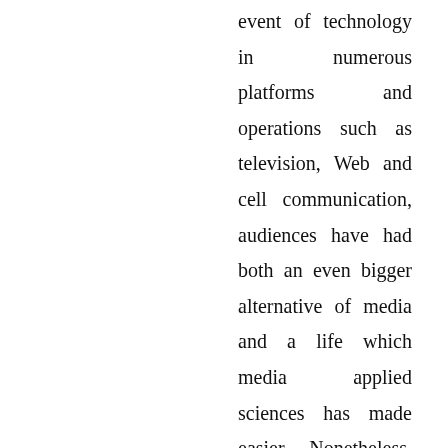event of technology in numerous platforms and operations such as television, Web and cell communication, audiences have had both an even bigger alternative of media and a life which media applied sciences has made easier. Nonetheless, one question needed to be requested whether or not or not media convergence deliver alternatives and challenges to the industry and society itself.
According Sobiya N. Moghul, we all are our attached to our media